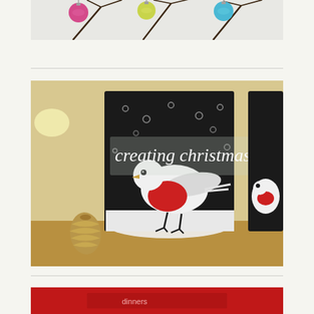[Figure (photo): Top portion of a photo showing colorful ornament balls (pink, green/yellow, blue) hanging on bare branches against a white wall]
[Figure (photo): Photo of a Christmas card/print showing a robin bird in white and red on a black background with snow, with text overlay 'creating christmas'. A pine cone is visible in the foreground on a wooden surface.]
[Figure (photo): Partial bottom photo showing red background with text partially visible]